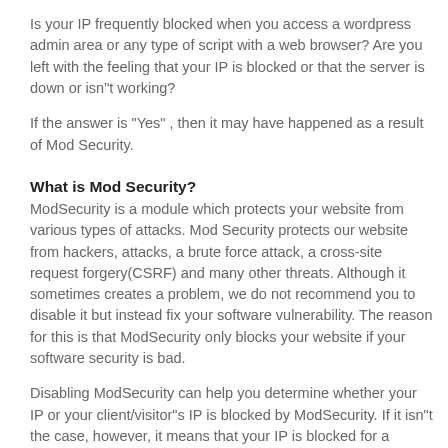Is your IP frequently blocked when you access a wordpress admin area or any type of script with a web browser? Are you left with the feeling that your IP is blocked or that the server is down or isn"t working?
If the answer is "Yes" , then it may have happened as a result of Mod Security.
What is Mod Security?
ModSecurity is a module which protects your website from various types of attacks. Mod Security protects our website from hackers, attacks, a brute force attack, a cross-site request forgery(CSRF) and many other threats. Although it sometimes creates a problem, we do not recommend you to disable it but instead fix your software vulnerability. The reason for this is that ModSecurity only blocks your website if your software security is bad.
Disabling ModSecurity can help you determine whether your IP or your client/visitor"s IP is blocked by ModSecurity. If it isn"t the case, however, it means that your IP is blocked for a different reason.